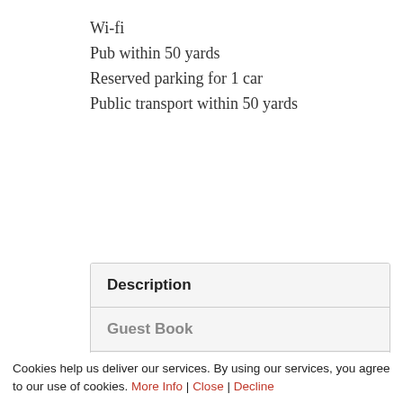Wi-fi
Pub within 50 yards
Reserved parking for 1 car
Public transport within 50 yards
| Description |
| Guest Book |
| Local Area |
| ... |
Cookies help us deliver our services. By using our services, you agree to our use of cookies. More Info | Close | Decline